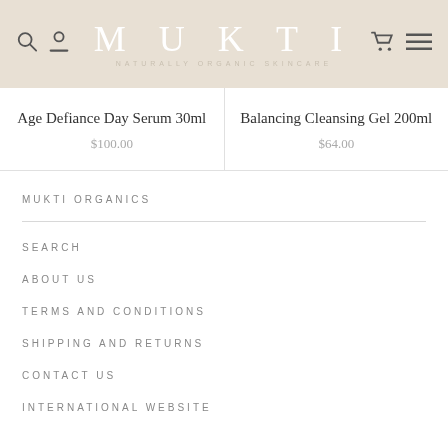MUKTI
NATURALLY ORGANIC SKINCARE
Age Defiance Day Serum 30ml
$100.00
Balancing Cleansing Gel 200ml
$64.00
MUKTI ORGANICS
SEARCH
ABOUT US
TERMS AND CONDITIONS
SHIPPING AND RETURNS
CONTACT US
INTERNATIONAL WEBSITE